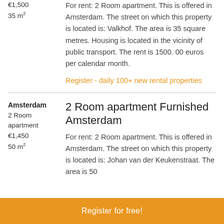€1,500
35 m²
For rent: 2 Room apartment. This is offered in Amsterdam. The street on which this property is located is: Valkhof. The area is 35 square metres. Housing is located in the vicinity of public transport. The rent is 1500. 00 euros per calendar month.
Register - daily 100+ new rental properties
Amsterdam
2 Room apartment
€1,450
50 m²
2 Room apartment Furnished Amsterdam
For rent: 2 Room apartment. This is offered in Amsterdam. The street on which this property is located is: Johan van der Keukenstraat. The area is 50
Register for free!